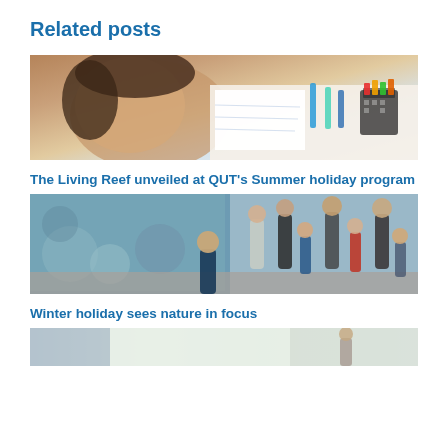Related posts
[Figure (photo): Young girl smiling at camera while drawing/writing on paper with markers and pens on a table, pencil case visible in background]
The Living Reef unveiled at QUT's Summer holiday program
[Figure (photo): Children and adults standing in front of a large illuminated underwater-themed display wall in what appears to be a museum or gallery space]
Winter holiday sees nature in focus
[Figure (photo): Partial view of people in an indoor space with bright lighting, partially cropped at bottom of page]